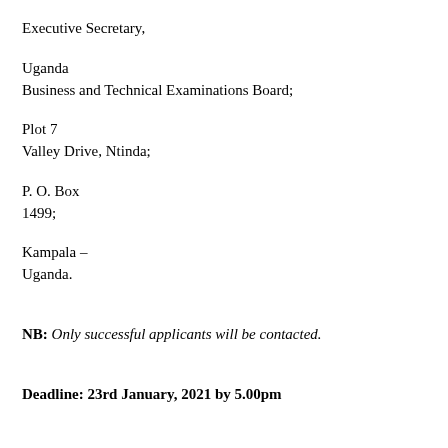Executive Secretary,
Uganda
Business and Technical Examinations Board;
Plot 7
Valley Drive, Ntinda;
P. O. Box
1499;
Kampala –
Uganda.
NB: Only successful applicants will be contacted.
Deadline: 23rd January, 2021 by 5.00pm